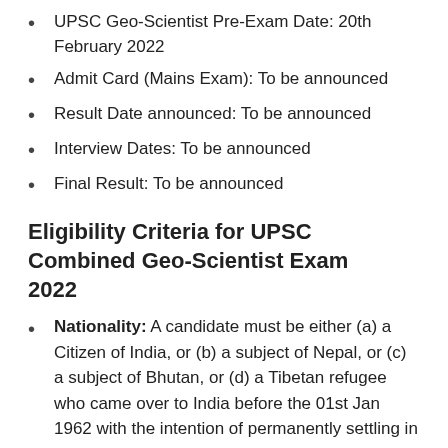UPSC Geo-Scientist Pre-Exam Date: 20th February 2022
Admit Card (Mains Exam): To be announced
Result Date announced: To be announced
Interview Dates: To be announced
Final Result: To be announced
Eligibility Criteria for UPSC Combined Geo-Scientist Exam 2022
Nationality: A candidate must be either (a) a Citizen of India, or (b) a subject of Nepal, or (c) a subject of Bhutan, or (d) a Tibetan refugee who came over to India before the 01st Jan 1962 with the intention of permanently settling in India or (e) a person of Indian origin who has migrated from Pakistan, Burma, Sri Lanka or East African